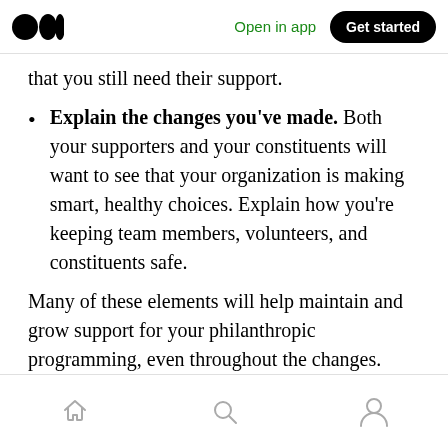Open in app | Get started
that you still need their support.
Explain the changes you've made. Both your supporters and your constituents will want to see that your organization is making smart, healthy choices. Explain how you're keeping team members, volunteers, and constituents safe.
Many of these elements will help maintain and grow support for your philanthropic programming, even throughout the changes.
Home | Search | Profile